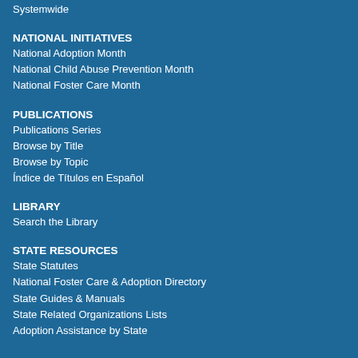Systemwide
NATIONAL INITIATIVES
National Adoption Month
National Child Abuse Prevention Month
National Foster Care Month
PUBLICATIONS
Publications Series
Browse by Title
Browse by Topic
Índice de Títulos en Español
LIBRARY
Search the Library
STATE RESOURCES
State Statutes
National Foster Care & Adoption Directory
State Guides & Manuals
State Related Organizations Lists
Adoption Assistance by State